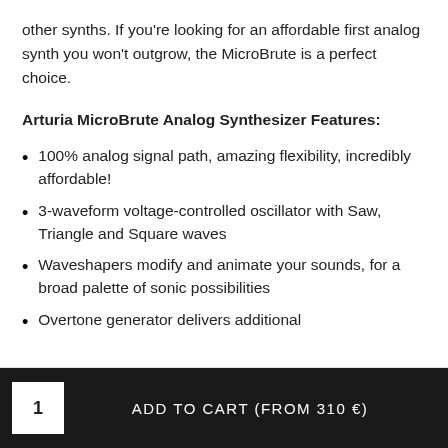other synths. If you're looking for an affordable first analog synth you won't outgrow, the MicroBrute is a perfect choice.
Arturia MicroBrute Analog Synthesizer Features:
100% analog signal path, amazing flexibility, incredibly affordable!
3-waveform voltage-controlled oscillator with Saw, Triangle and Square waves
Waveshapers modify and animate your sounds, for a broad palette of sonic possibilities
Overtone generator delivers additional
1  ADD TO CART (From 310 €)